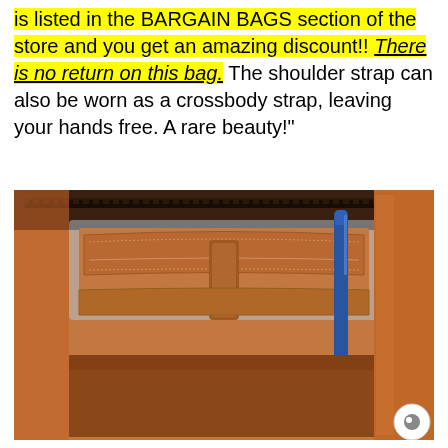is listed in the BARGAIN BAGS section of the store and you get an amazing discount!! There is no return on this bag. The shoulder strap can also be worn as a crossbody strap, leaving your hands free. A rare beauty!"
[Figure (photo): Interior view of an open brown leather bag/purse showing interior pockets, a strap with a button, and a blue pen or stylus inserted along the side. The bag has a zipper along the top edge visible in the photo.]